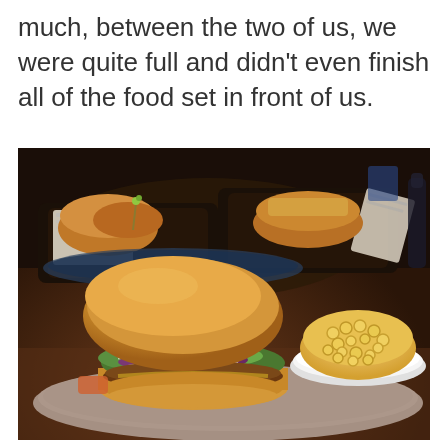much, between the two of us, we were quite full and didn't even finish all of the food set in front of us.
[Figure (photo): A close-up photo of restaurant food: a burger slider with coleslaw and toppings on a white plate, a bowl of macaroni and cheese, and baskets of food in the background on a wooden table.]